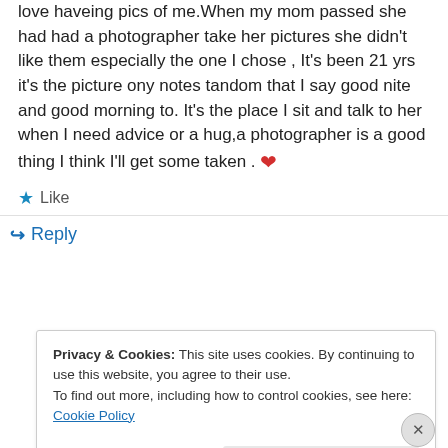love haveing pics of me.When my mom passed she had had a photographer take her pictures she didn't like them especially the one I chose , It's been 21 yrs it's the picture ony notes tandom that I say good nite and good morning to. It's the place I sit and talk to her when I need advice or a hug,a photographer is a good thing I think I'll get some taken . ❤
★ Like
↳ Reply
Privacy & Cookies: This site uses cookies. By continuing to use this website, you agree to their use. To find out more, including how to control cookies, see here: Cookie Policy
Close and accept